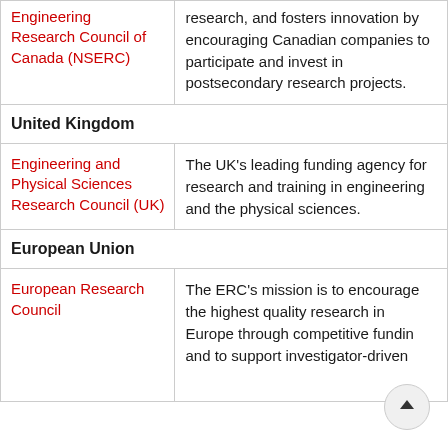| Organization | Description |
| --- | --- |
| Engineering Research Council of Canada (NSERC) | research, and fosters innovation by encouraging Canadian companies to participate and invest in postsecondary research projects. |
| United Kingdom |  |
| Engineering and Physical Sciences Research Council (UK) | The UK's leading funding agency for research and training in engineering and the physical sciences. |
| European Union |  |
| European Research Council | The ERC's mission is to encourage the highest quality research in Europe through competitive funding and to support investigator-driven |